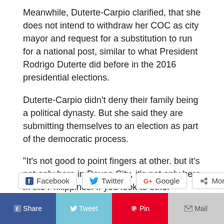Meanwhile, Duterte-Carpio clarified, that she does not intend to withdraw her COC as city mayor and request for a substitution to run for a national post, similar to what President Rodrigo Duterte did before in the 2016 presidential elections.
Duterte-Carpio didn't deny their family being a political dynasty. But she said they are submitting themselves to an election as part of the democratic process.
“It’s not good to point fingers at other. but it’s not only here in Davao City, it’s not only here in the Philippines. If you look to other countries, it’s the same…You come from a family of politicians, most likely you become a politician,” she said.(davaotoday.com)
[Figure (infographic): Social sharing buttons: Facebook, Twitter, Google+, More]
[Figure (infographic): Bottom social bar with Facebook (blue), Twitter (light blue), Pinterest (red), Mail (gray) buttons]